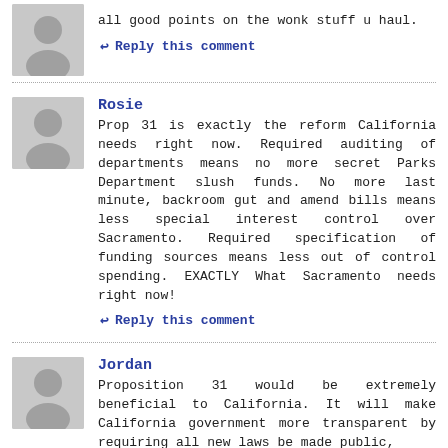all good points on the wonk stuff u haul.
Reply this comment
Rosie
Prop 31 is exactly the reform California needs right now. Required auditing of departments means no more secret Parks Department slush funds. No more last minute, backroom gut and amend bills means less special interest control over Sacramento. Required specification of funding sources means less out of control spending. EXACTLY What Sacramento needs right now!
Reply this comment
Jordan
Proposition 31 would be extremely beneficial to California. It will make California government more transparent by requiring all new laws be made public, in print, well before they are voted on. This will